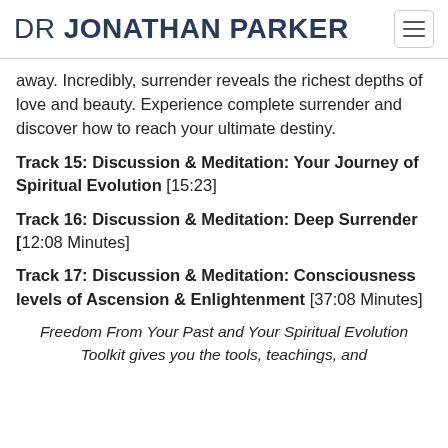DR JONATHAN PARKER
away. Incredibly, surrender reveals the richest depths of love and beauty. Experience complete surrender and discover how to reach your ultimate destiny.
Track 15: Discussion & Meditation: Your Journey of Spiritual Evolution [15:23]
Track 16: Discussion & Meditation: Deep Surrender [12:08 Minutes]
Track 17: Discussion & Meditation: Consciousness levels of Ascension & Enlightenment [37:08 Minutes]
Freedom From Your Past and Your Spiritual Evolution Toolkit gives you the tools, teachings, and